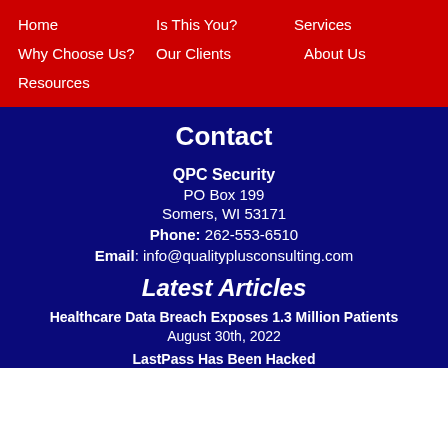Home | Is This You? | Services
Why Choose Us? | Our Clients | About Us
Resources
Contact
QPC Security
PO Box 199
Somers, WI 53171
Phone: 262-553-6510
Email: info@qualityplusconsulting.com
Latest Articles
Healthcare Data Breach Exposes 1.3 Million Patients
August 30th, 2022
LastPass Has Been Hacked